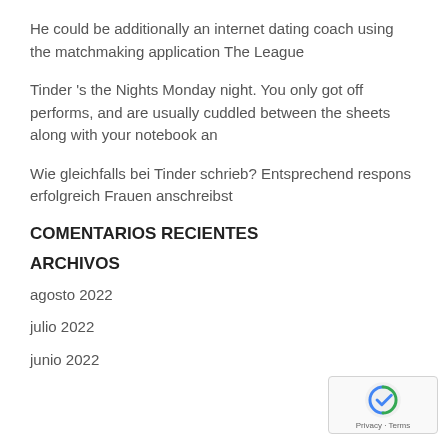He could be additionally an internet dating coach using the matchmaking application The League
Tinder 's the Nights Monday night. You only got off performs, and are usually cuddled between the sheets along with your notebook an
Wie gleichfalls bei Tinder schrieb? Entsprechend respons erfolgreich Frauen anschreibst
COMENTARIOS RECIENTES
ARCHIVOS
agosto 2022
julio 2022
junio 2022